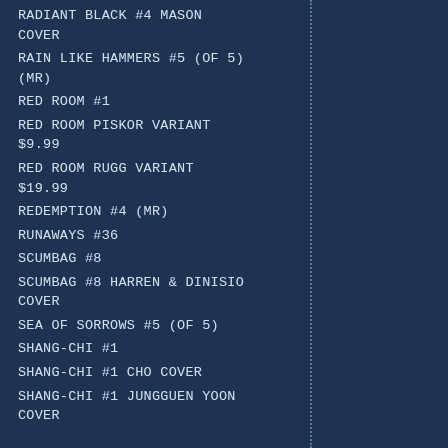RADIANT BLACK #4 MASON COVER
RAIN LIKE HAMMERS #5 (OF 5) (MR)
RED ROOM #1
RED ROOM PISKOR VARIANT $9.99
RED ROOM RUGG VARIANT $19.99
REDEMPTION #4 (MR)
RUNAWAYS #36
SCUMBAG #8
SCUMBAG #8 HARREN & DINISIO COVER
SEA OF SORROWS #5 (OF 5)
SHANG-CHI #1
SHANG-CHI #1 CHO COVER
SHANG-CHI #1 JUNGGUEN YOON COVER